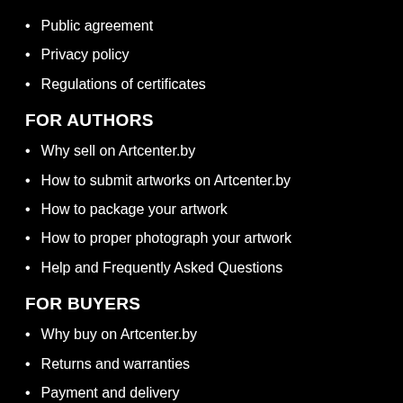Public agreement
Privacy policy
Regulations of certificates
FOR AUTHORS
Why sell on Artcenter.by
How to submit artworks on Artcenter.by
How to package your artwork
How to proper photograph your artwork
Help and Frequently Asked Questions
FOR BUYERS
Why buy on Artcenter.by
Returns and warranties
Payment and delivery
How to view an artwork
Rules for exhibiting various types of art